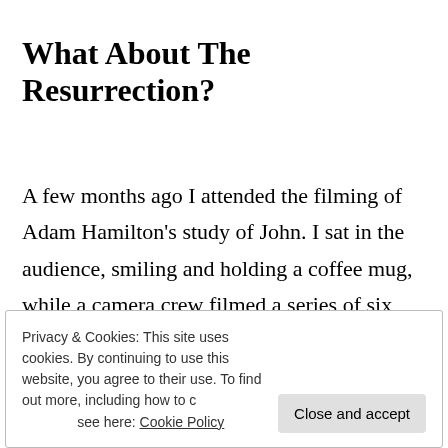What About The Resurrection?
A few months ago I attended the filming of Adam Hamilton's study of John. I sat in the audience, smiling and holding a coffee mug, while a camera crew filmed a series of six devotional presentations. After each
Privacy & Cookies: This site uses cookies. By continuing to use this website, you agree to their use. To find out more, including how to control cookies, see here: Cookie Policy